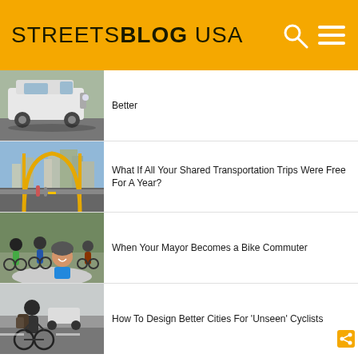STREETSBLOG USA
Better
[Figure (photo): White cargo van on a city street]
What If All Your Shared Transportation Trips Were Free For A Year?
[Figure (photo): People walking on a yellow bridge with city skyline in background]
When Your Mayor Becomes a Bike Commuter
[Figure (photo): Group of cyclists gathered on a path, woman smiling in foreground]
How To Design Better Cities For 'Unseen' Cyclists
[Figure (photo): Cyclist with bags on a city street]